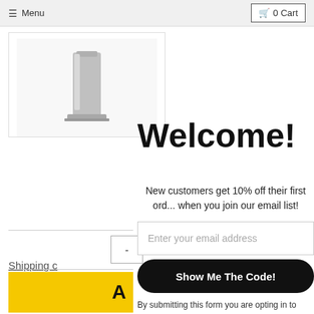≡ Menu   🛒 0 Cart
[Figure (photo): Product thumbnail image showing a metallic coffee or kitchen device on a white background with border]
Welcome!
New customers get 10% off their first order when you join our email list!
Shipping c
Enter your email address
Show Me The Code!
A
By submitting this form you are opting in to receive emails from Epoca, makers of Primula